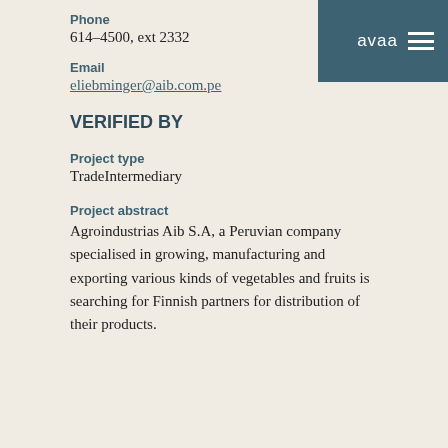avaa
Phone
614-4500, ext 2332
Email
eliebminger@aib.com.pe
VERIFIED BY
Project type
TradeIntermediary
Project abstract
Agroindustrias Aib S.A, a Peruvian company specialised in growing, manufacturing and exporting various kinds of vegetables and fruits is searching for Finnish partners for distribution of their products.